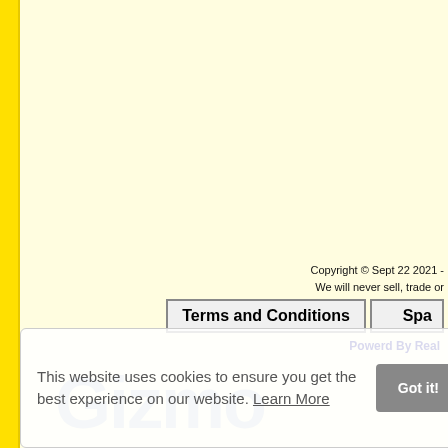Copyright © Sept 22 2021 -
We will never sell, trade or
Terms and Conditions
Spa
Powerd By Real
This website uses cookies to ensure you get the best experience on our website. Learn More